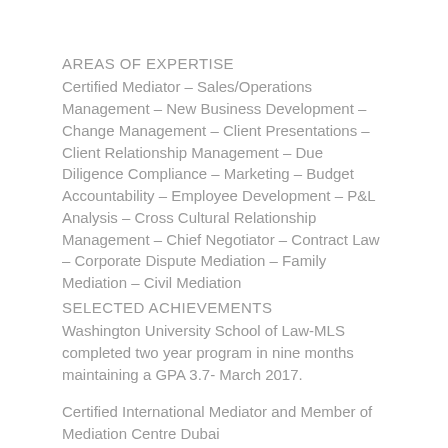AREAS OF EXPERTISE
Certified Mediator – Sales/Operations Management – New Business Development – Change Management – Client Presentations – Client Relationship Management – Due Diligence Compliance – Marketing – Budget Accountability – Employee Development – P&L Analysis – Cross Cultural Relationship Management – Chief Negotiator – Contract Law – Corporate Dispute Mediation – Family Mediation – Civil Mediation
SELECTED ACHIEVEMENTS
Washington University School of Law-MLS completed two year program in nine months maintaining a GPA 3.7- March 2017.
Certified International Mediator and Member of Mediation Centre Dubai